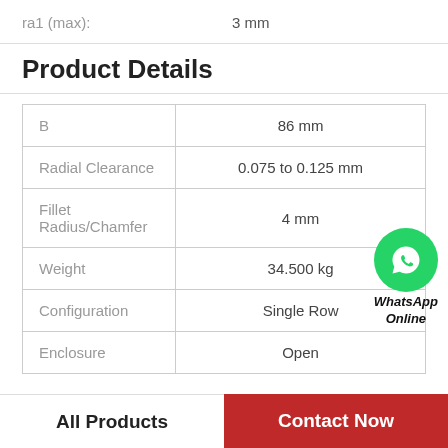ra1 (max):    3 mm
Product Details
| Property | Value |
| --- | --- |
| B | 86 mm |
| Radial Clearance | 0.075 to 0.125 mm |
| Fillet Radius/Chamfer | 4 mm |
| Weight | 34.500 kg |
| Configuration | Single Row |
| Enclosure | Open |
[Figure (logo): WhatsApp Online button with green WhatsApp icon and italic bold text 'WhatsApp Online']
All Products
Contact Now